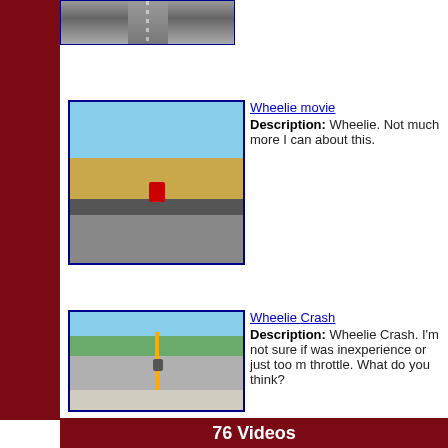[Figure (photo): Top cropped road/driving photo]
[Figure (photo): Motorcycle doing a wheelie on a flat rural road with sky and dry grass background]
Wheelie movie
Description: Wheelie. Not much more I can about this.
[Figure (photo): Straight rural road with trees on sides and motorcycle visible in distance]
Wheelie Crash
Description: Wheelie Crash. I'm not sure if was inexperience or just too m throttle. What do you think?
76 Videos